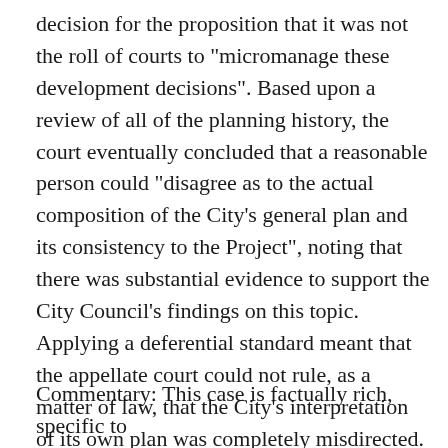decision for the proposition that it was not the roll of courts to "micromanage these development decisions". Based upon a review of all of the planning history, the court eventually concluded that a reasonable person could "disagree as to the actual composition of the City's general plan and its consistency to the Project", noting that there was substantial evidence to support the City Council's findings on this topic. Applying a deferential standard meant that the appellate court could not rule, as a matter of law, that the City's interpretation of its own plan was completely misdirected. As the City Council found that the project was consistent with the general plan without the voter rejected general plan amendment, the project could go forward.
Commentary: This case is factually rich, specific to